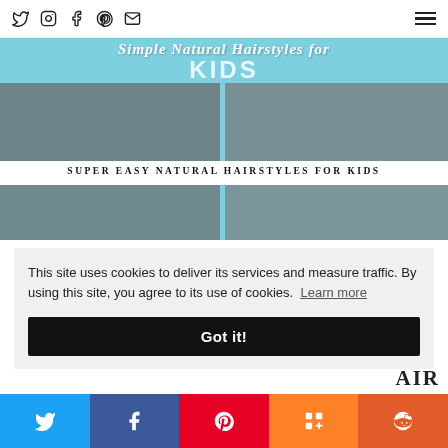Social media icons (Twitter, Instagram, Facebook, Pinterest, Email) and hamburger menu
[Figure (photo): Hero image collage: Simple Natural Hairstyles for KIDS — two panels of children with natural hair braids against a teal/blue background]
SUPER EASY NATURAL HAIRSTYLES FOR KIDS
This site uses cookies to deliver its services and measure traffic. By using this site, you agree to its use of cookies. Learn more
Got it!
AIR
Share buttons: Twitter, Facebook, Pinterest, Mix, Reddit